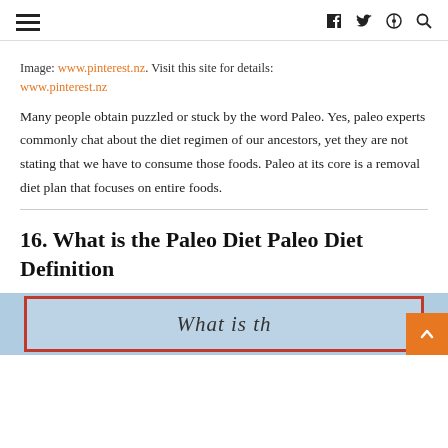≡  f  tw  ⊕  🔍
Image: www.pinterest.nz. Visit this site for details: www.pinterest.nz
Many people obtain puzzled or stuck by the word Paleo. Yes, paleo experts commonly chat about the diet regimen of our ancestors, yet they are not stating that we have to consume those foods. Paleo at its core is a removal diet plan that focuses on entire foods.
16. What is the Paleo Diet Paleo Diet Definition
[Figure (photo): Partially visible image with cursive script text beginning with 'What is th...' on a light blue background with a red border frame]